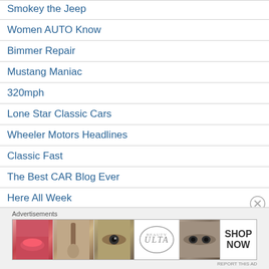Smokey the Jeep
Women AUTO Know
Bimmer Repair
Mustang Maniac
320mph
Lone Star Classic Cars
Wheeler Motors Headlines
Classic Fast
The Best CAR Blog Ever
Here All Week
Advertisements
[Figure (other): Advertisement banner for ULTA Beauty with cosmetic product photos and SHOP NOW call to action]